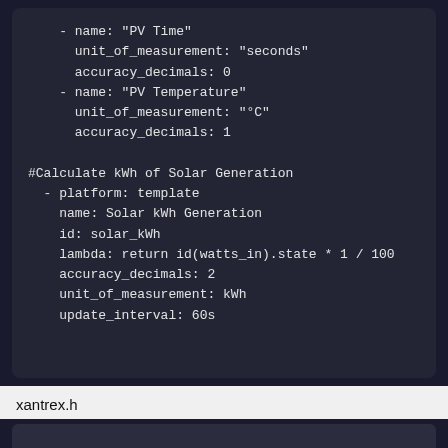[Figure (screenshot): Dark-themed code block showing YAML configuration with PV Time, PV Temperature sensor entries and a Calculate kWh of Solar Generation template sensor block]
xantrex.h
[Figure (screenshot): Bottom dark code block, partially visible]